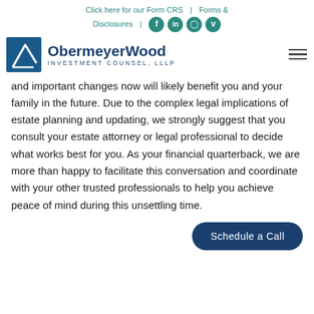Click here for our Form CRS | Forms & Disclosures | [social icons: f, in, instagram, vimeo]
[Figure (logo): ObermeyerWood Investment Counsel, LLLP logo with blue diagonal line graphic and company name]
and important changes now will likely benefit you and your family in the future. Due to the complex legal implications of estate planning and updating, we strongly suggest that you consult your estate attorney or legal professional to decide what works best for you. As your financial quarterback, we are more than happy to facilitate this conversation and coordinate with your other trusted professionals to help you achieve peace of mind during this unsettling time.
Schedule a Call